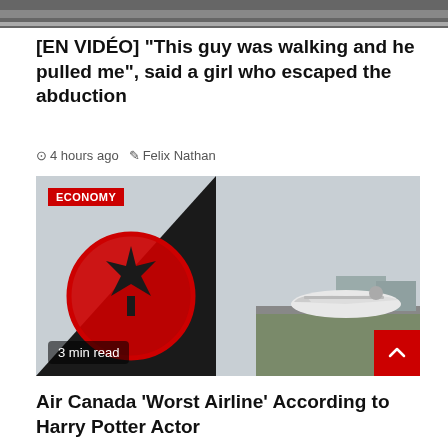[Figure (photo): Top portion of a news article image, cropped, showing a dark blurry background]
[EN VIDÉO] “This guy was walking and he pulled me”, said a girl who escaped the abduction
4 hours ago   Felix Nathan
[Figure (photo): Air Canada aircraft tail fin with red maple leaf logo in foreground, airplane on tarmac in background, with ECONOMY badge and 3 min read label]
Air Canada ‘Worst Airline’ According to Harry Potter Actor